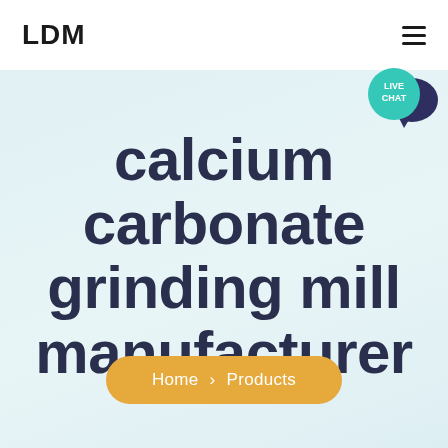LDM
calcium carbonate grinding mill manufacturer
Home › Products